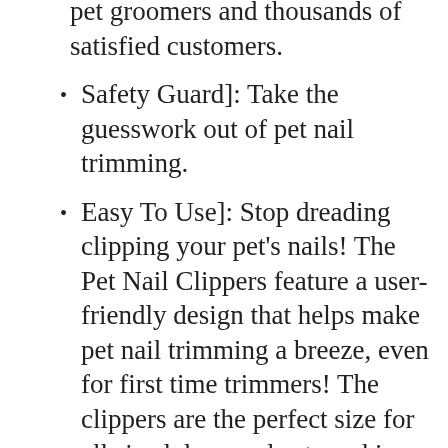pet groomers and thousands of satisfied customers.
Safety Guard]: Take the guesswork out of pet nail trimming.
Easy To Use]: Stop dreading clipping your pet's nails! The Pet Nail Clippers feature a user-friendly design that helps make pet nail trimming a breeze, even for first time trimmers! The clippers are the perfect size for all sized dogs and cats and is designed to keep them and you comfortable while trimming.